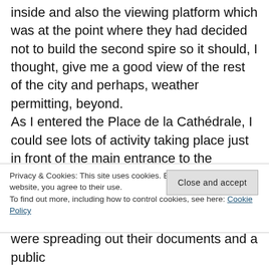inside and also the viewing platform which was at the point where they had decided not to build the second spire so it should, I thought, give me a good view of the rest of the city and perhaps, weather permitting, beyond. As I entered the Place de la Cathédrale, I could see lots of activity taking place just in front of the main entrance to the cathedral itself. A podium was being set up, crash barriers erected along the side of the square and an inflatable arch had been blown up and positioned at the end of the main street out of the square. I took a seat outside the
Privacy & Cookies: This site uses cookies. By continuing to use this website, you agree to their use. To find out more, including how to control cookies, see here: Cookie Policy
Close and accept
were spreading out their documents and a public